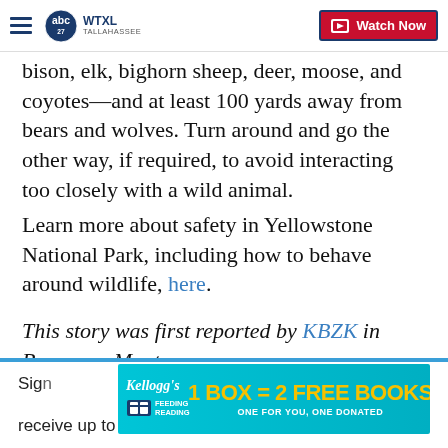WTXL TALLAHASSEE — Watch Now
bison, elk, bighorn sheep, deer, moose, and coyotes—and at least 100 yards away from bears and wolves. Turn around and go the other way, if required, to avoid interacting too closely with a wild animal.
Learn more about safety in Yellowstone National Park, including how to behave around wildlife, here.
This story was first reported by KBZK in Bozeman, Montana.
Copyright 2022 Scripps Media, Inc. All rights reserved. This material may not be published, broadcast, rewritten, or redistributed.
[Figure (screenshot): Kellogg's Feeding Reading advertisement banner: '1 BOX = 2 FREE BOOKS — ONE FOR YOU, ONE DONATED']
Sign up ... receive up to date information.